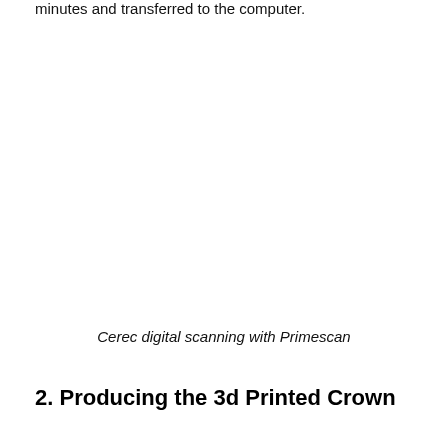minutes and transferred to the computer.
[Figure (photo): Image of Cerec digital scanning with Primescan device in use]
Cerec digital scanning with Primescan
2. Producing the 3d Printed Crown